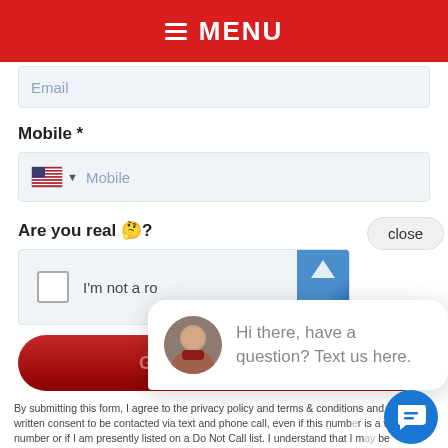≡ MENU
Email
Mobile *
Are you real 🤔?
I'm not a robot
close
Hi there, have a question? Text us here.
Get Coupons Now!
By submitting this form, I agree to the privacy policy and terms & conditions and express written consent to be contacted via text and phone call, even if this number is a wireless number or if I am presently listed on a Do Not Call list. I understand that I may be contacted by telephone, email, text message or mail regarding marketing services and that I may be called using automatic telephone equipment. Message and data rates may apply. My